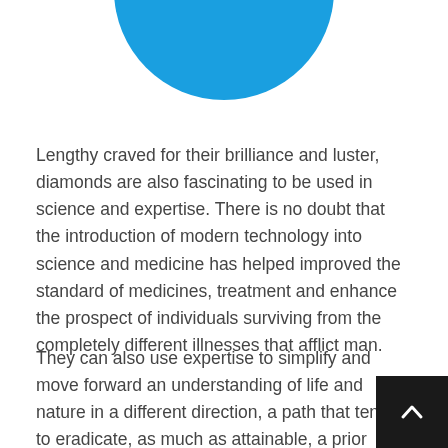[Figure (illustration): Blue circle partially visible at the top of the page, cropped at the top edge]
Lengthy craved for their brilliance and luster, diamonds are also fascinating to be used in science and expertise. There is no doubt that the introduction of modern technology into science and medicine has helped improved the standard of medicines, treatment and enhance the prospect of individuals surviving from the completely different illnesses that afflict man.
They can also use expertise to simplify and move forward an understanding of life and nature in a different direction, a path that tends to eradicate, as much as attainable, a prior connection between nature that was, in lots of respects, mystical and science took fund, science and technology studies